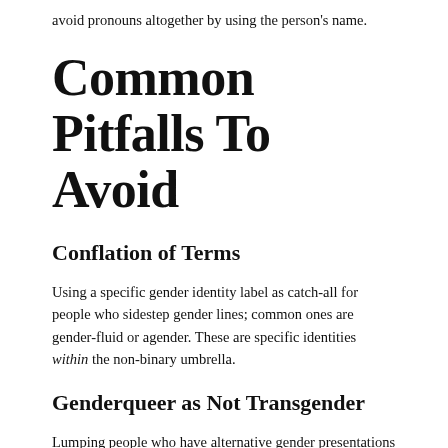avoid pronouns altogether by using the person's name.
Common Pitfalls To Avoid
Conflation of Terms
Using a specific gender identity label as catch-all for people who sidestep gender lines; common ones are gender-fluid or agender. These are specific identities within the non-binary umbrella.
Genderqueer as Not Transgender
Lumping people who have alternative gender presentations into a